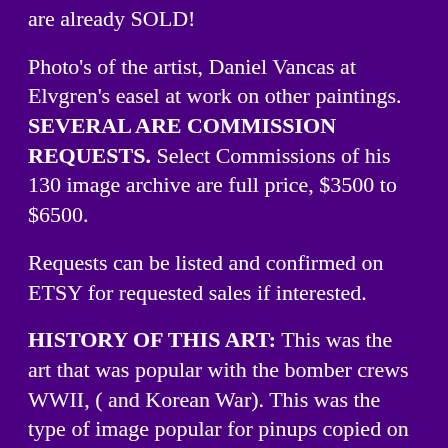are already SOLD!
Photo's of the artist, Daniel Vancas at Elvgren's easel at work on other paintings. SEVERAL ARE COMMISSION REQUESTS. Select Commissions of his 130 image archive are full price, $3500 to $6500.
Requests can be listed and confirmed on ETSY for requested sales if interested.
HISTORY OF THIS ART: This was the art that was popular with the bomber crews WWII, ( and Korean War). This was the type of image popular for pinups copied on countless leather flight "Bomber Jackets" B-17, B-24 and B-29! Beautiful 1940's & 1950's Commercial, Aviation, Hair Salon, Auto shop and gas station pin-up girl.